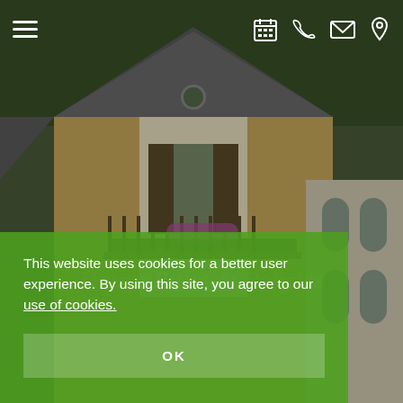[Figure (photo): Background photo of a yellow house/villa with a balcony and dark roof, surrounded by green trees. A second building with arched windows is partially visible on the right.]
Navigation bar with hamburger menu icon and four icons: calendar/booking, phone, email, location pin
This website uses cookies for a better user experience. By using this site, you agree to our use of cookies.
OK